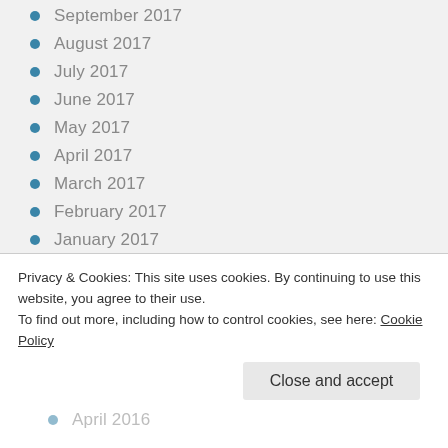September 2017
August 2017
July 2017
June 2017
May 2017
April 2017
March 2017
February 2017
January 2017
December 2016
November 2016
October 2016
September 2016
Privacy & Cookies: This site uses cookies. By continuing to use this website, you agree to their use.
To find out more, including how to control cookies, see here: Cookie Policy
April 2016